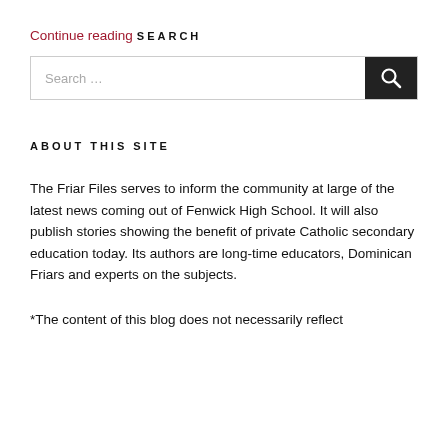Continue reading
SEARCH
[Figure (other): Search input box with search button]
ABOUT THIS SITE
The Friar Files serves to inform the community at large of the latest news coming out of Fenwick High School. It will also publish stories showing the benefit of private Catholic secondary education today. Its authors are long-time educators, Dominican Friars and experts on the subjects.
*The content of this blog does not necessarily reflect